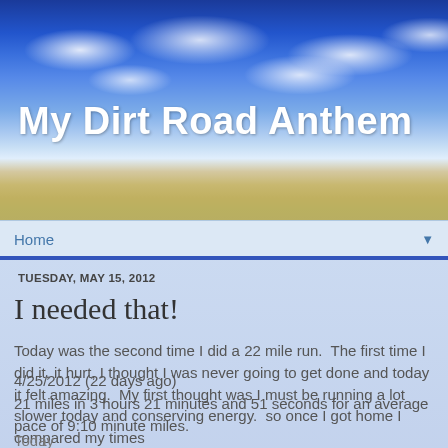[Figure (photo): Blog header banner with blue sky and white clouds on top, transitioning to a wide open wheat/grassland field landscape below. Title text 'My Dirt Road Anthem' overlaid in white.]
My Dirt Road Anthem
Home ▼
TUESDAY, MAY 15, 2012
I needed that!
Today was the second time I did a 22 mile run.  The first time I did it, it hurt, I thought I was never going to get done and today it felt amazing.  My first thought was I must be running a lot slower today and conserving energy.  so once I got home I compared my times
4/25/2012 (22 days ago)
21 miles in 3 hours 21 minutes and 51 seconds for an average pace of 9:10 minute miles.
Today